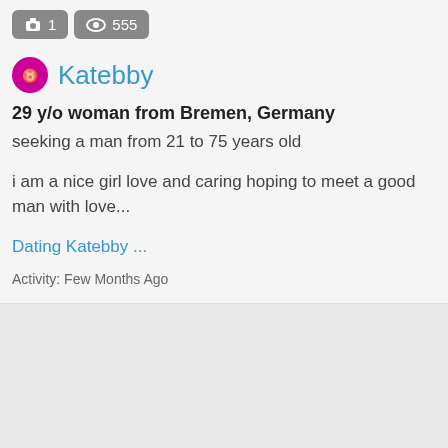[Figure (infographic): Top bar with camera icon showing count 1 and eye icon showing count 555]
Katebby
29 y/o woman from Bremen, Germany
seeking a man from 21 to 75 years old
i am a nice girl love and caring hoping to meet a good man with love...
Dating Katebby ...
Activity: Few Months Ago